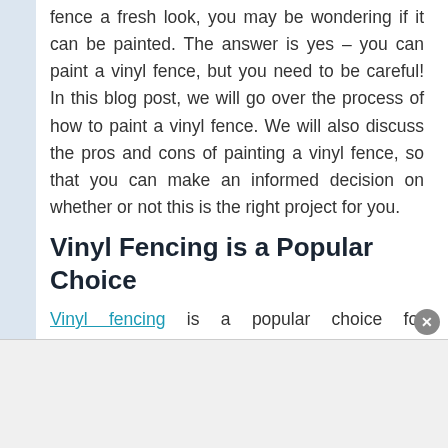fence a fresh look, you may be wondering if it can be painted. The answer is yes – you can paint a vinyl fence, but you need to be careful! In this blog post, we will go over the process of how to paint a vinyl fence. We will also discuss the pros and cons of painting a vinyl fence, so that you can make an informed decision on whether or not this is the right project for you.
Vinyl Fencing is a Popular Choice
Vinyl fencing is a popular choice for homeowners because it is low maintenance